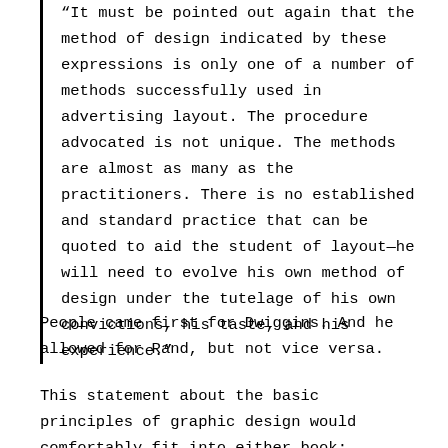“It must be pointed out again that the method of design indicated by these expressions is only one of a number of methods successfully used in advertising layout. The procedure advocated is not unique. The methods are almost as many as the practitioners. There is no established and standard practice that can be quoted to aid the student of layout—he will need to evolve his own method of design under the tutelage of his own convictions, his taste, and his experience.”
People came first for Dwiggins. And he allowed for Rand, but not vice versa.
This statement about the basic principles of graphic design would comfortably fit into either book: